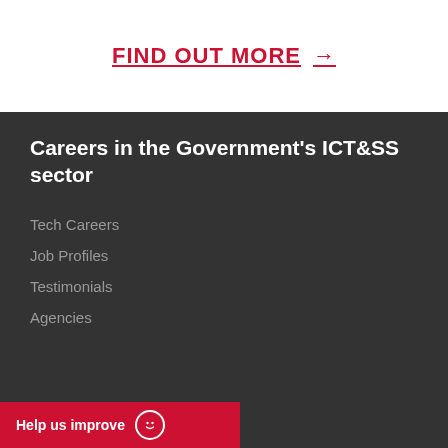FIND OUT MORE →
Careers in the Government's ICT&SS sector
Tech Careers
Job Profiles
Testimonials
Agencies
Help us improve 🙂